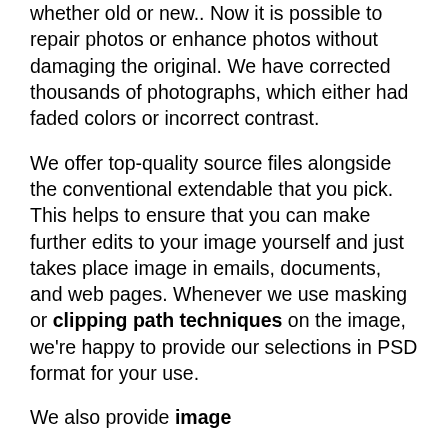whether old or new.. Now it is possible to repair photos or enhance photos without damaging the original. We have corrected thousands of photographs, which either had faded colors or incorrect contrast.
We offer top-quality source files alongside the conventional extendable that you pick. This helps to ensure that you can make further edits to your image yourself and just takes place image in emails, documents, and web pages. Whenever we use masking or clipping path techniques on the image, we're happy to provide our selections in PSD format for your use.
We also provide image